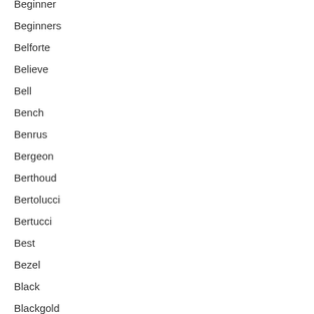Beginner
Beginners
Belforte
Believe
Bell
Bench
Benrus
Bergeon
Berthoud
Bertolucci
Bertucci
Best
Bezel
Black
Blackgold
Blade